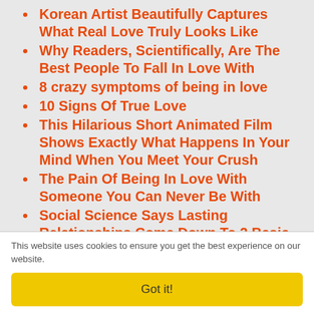Korean Artist Beautifully Captures What Real Love Truly Looks Like
Why Readers, Scientifically, Are The Best People To Fall In Love With
8 crazy symptoms of being in love
10 Signs Of True Love
This Hilarious Short Animated Film Shows Exactly What Happens In Your Mind When You Meet Your Crush
The Pain Of Being In Love With Someone You Can Never Be With
Social Science Says Lasting Relationships Come Down To 2 Basic Traits
Signs That Your Relationship Can Last
This website uses cookies to ensure you get the best experience on our website.
Got it!